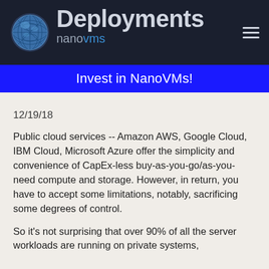Deployments nanovms
Invest in NanoVMs!
12/19/18
Public cloud services -- Amazon AWS, Google Cloud, IBM Cloud, Microsoft Azure offer the simplicity and convenience of CapEx-less buy-as-you-go/as-you-need compute and storage. However, in return, you have to accept some limitations, notably, sacrificing some degrees of control.
So it's not surprising that over 90% of all the server workloads are running on private systems,